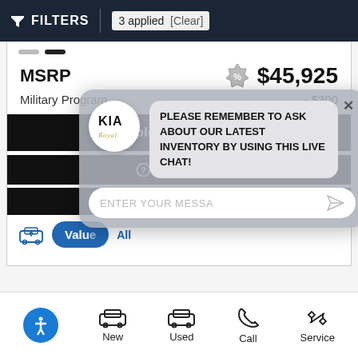FILTERS | 3 applied [Clear]
MSRP   $45,925
Military Program   - $300
Explore Payments
QUESTIONS
SAVE
[Figure (screenshot): Chat popup with Kia Royal logo circle and message: PLEASE REMEMBER TO ASK ABOUT OUR LATEST INVENTORY BY USING THIS LIVE CHAT! with input field ENTER YOUR MESSAGE]
Value My Trade
All
New   Used   Call   Service